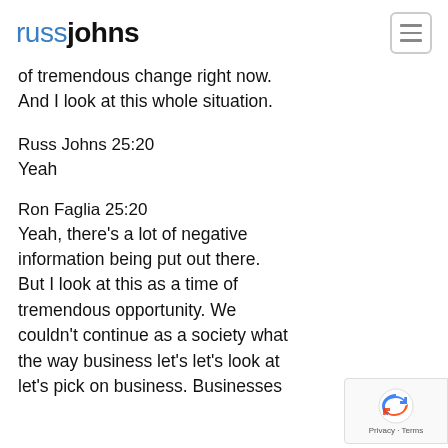russjohns
of tremendous change right now. And I look at this whole situation.
Russ Johns 25:20
Yeah
Ron Faglia 25:20
Yeah, there's a lot of negative information being put out there. But I look at this as a time of tremendous opportunity. We couldn't continue as a society what the way business let's let's look at let's pick on business. Businesses